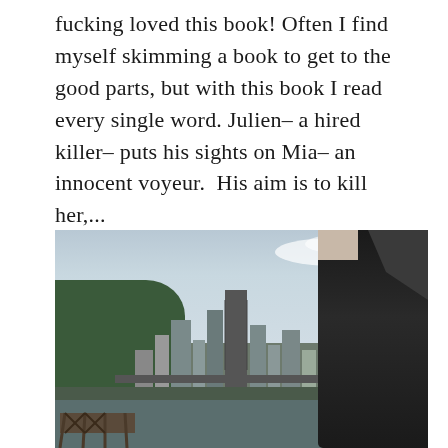fucking loved this book! Often I find myself skimming a book to get to the good parts, but with this book I read every single word. Julien– a hired killer– puts his sights on Mia– an innocent voyeur.  His aim is to kill her,...
[Figure (photo): Black and white photo of a city skyline with tall skyscrapers in the background, green trees on the left, a waterway/river in the foreground, a bridge, and a man in a dark leather jacket visible on the right side of the frame.]